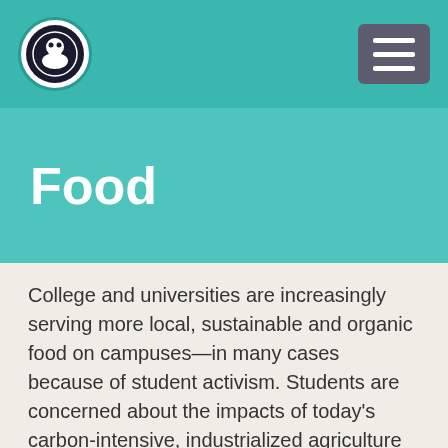Food
Food
College and universities are increasingly serving more local, sustainable and organic food on campuses—in many cases because of student activism. Students are concerned about the impacts of today's carbon-intensive, industrialized agriculture and about the rising rates of obesity and diabetes. As a result, they have been pushing for more healthful and sustainable alternatives.
As a student, you can make food part of your personal environmental platform in many different ways: